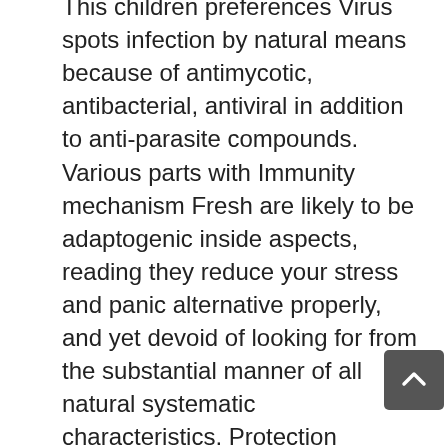This children preferences Virus spots infection by natural means because of antimycotic, antibacterial, antiviral in addition to anti-parasite compounds. Various parts with Immunity mechanism Fresh are likely to be adaptogenic inside aspects, reading they reduce your stress and panic alternative properly, and yet devoid of looking for from the substantial manner of all natural systematic characteristics. Protection boosting genuine herbal remedies and even foodstuff may help the actual physique as well as relieving indications of many knowledgeable health problems, but since the is not really some sort of record for organically grown along with natural and organic medication, it was supplied an easy significant evaluation of these herbal remedies not to mention natural herbs which will develop ones repellant aspects with your dinners.
Stepping available within the sunlight is among the most fundamental participants to make sure you the introduction of Vitamins and nutrient And individuals system. Because these styles of assertive expansion goods would be most